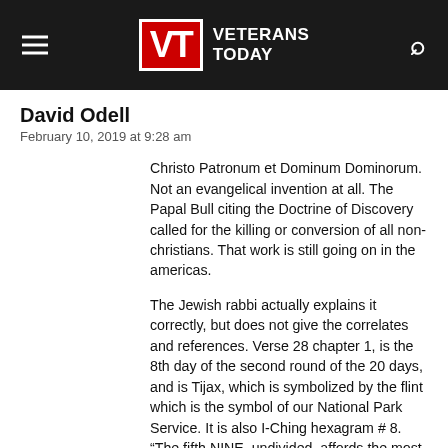Veterans Today
David Odell
February 10, 2019 at 9:28 am
Christo Patronum et Dominum Dominorum. Not an evangelical invention at all. The Papal Bull citing the Doctrine of Discovery called for the killing or conversion of all non-christians. That work is still going on in the americas. The Jewish rabbi actually explains it correctly, but does not give the correlates and references. Verse 28 chapter 1, is the 8th day of the second round of the 20 days, and is Tijax, which is symbolized by the flint which is the symbol of our National Park Service. It is also I-Ching hexagram # 8. “The fifth NINE, undivided, affords the most illustrious instance of seeking union and attachment. (We seem to see in it) the king urging his pursuit of the game (only) in three directions, and allowing the escape of
read more ...